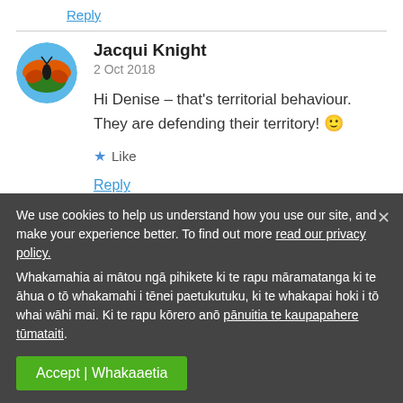Reply
Jacqui Knight
2 Oct 2018
Hi Denise – that's territorial behaviour. They are defending their territory! 🙂
★ Like
Reply
We use cookies to help us understand how you use our site, and make your experience better. To find out more read our privacy policy. Whakamahia ai mātou ngā pihikete ki te rapu māramatanga ki te āhua o tō whakamahi i tēnei paetukutuku, ki te whakapai hoki i tō whai wāhi mai. Ki te rapu kōrero anō pānuitia te kaupapahere tūmataiti.
Accept | Whakaaetia